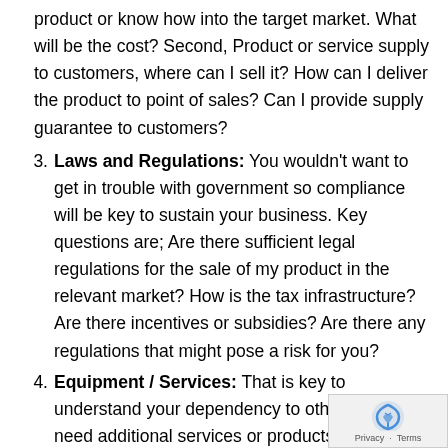product or know how into the target market. What will be the cost? Second, Product or service supply to customers, where can I sell it? How can I deliver the product to point of sales? Can I provide supply guarantee to customers?
Laws and Regulations: You wouldn't want to get in trouble with government so compliance will be key to sustain your business. Key questions are; Are there sufficient legal regulations for the sale of my product in the relevant market? How is the tax infrastructure? Are there incentives or subsidies? Are there any regulations that might pose a risk for you?
Equipment / Services: That is key to understand your dependency to others. Do I need additional services or products to sell? Are there any third-